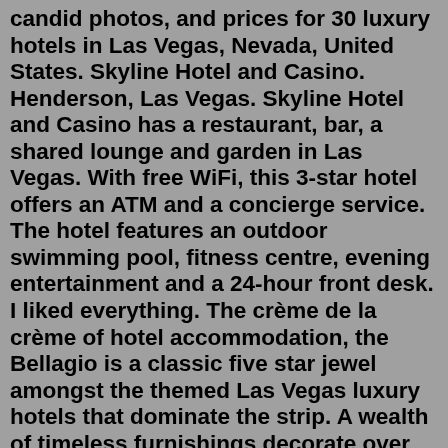candid photos, and prices for 30 luxury hotels in Las Vegas, Nevada, United States. Skyline Hotel and Casino. Henderson, Las Vegas. Skyline Hotel and Casino has a restaurant, bar, a shared lounge and garden in Las Vegas. With free WiFi, this 3-star hotel offers an ATM and a concierge service. The hotel features an outdoor swimming pool, fitness centre, evening entertainment and a 24-hour front desk. I liked everything. The crème de la crème of hotel accommodation, the Bellagio is a classic five star jewel amongst the themed Las Vegas luxury hotels that dominate the strip. A wealth of timeless furnishings decorate over 3900 rooms making for a super relaxing place to retreat to once the casino becomes too much.Cheap Motels in Las Vegas Strip Travelodge by Wyndham Las Vegas 2830 Las Vegas Blvd S, Las Vegas, NV, 89109 $72 per night Aug 8 - Aug 9 3/5 (1,000 reviews) Lowest nightly price found within the past 24 hours based on a 1 night stay for 2 adults. Prices and availability subject to change. Additional terms may apply. 2-star Hotels in Las